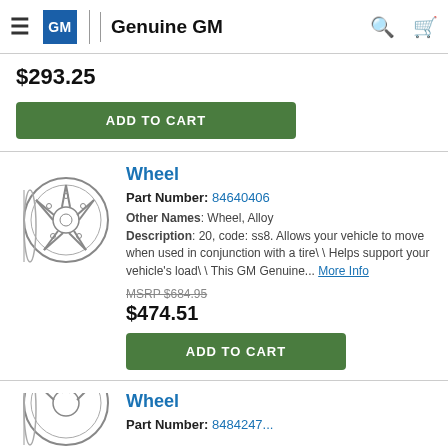Genuine GM
$293.25
ADD TO CART
[Figure (illustration): Line drawing illustration of an alloy wheel]
Wheel
Part Number: 84640406
Other Names: Wheel, Alloy
Description: 20, code: ss8. Allows your vehicle to move when used in conjunction with a tire\ \ Helps support your vehicle's load\ \ This GM Genuine... More Info
MSRP $684.95
$474.51
ADD TO CART
[Figure (illustration): Line drawing illustration of an alloy wheel (partial, bottom of page)]
Wheel
Part Number: 8484247...